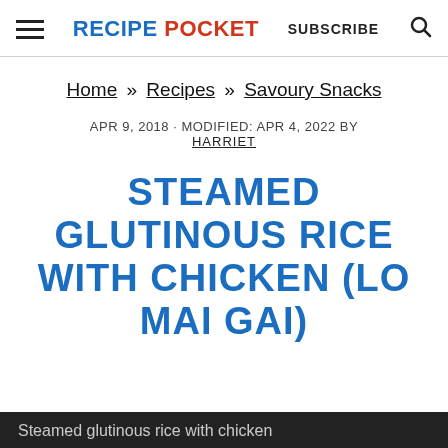RECIPE POCKET | SUBSCRIBE
Home » Recipes » Savoury Snacks
APR 9, 2018 · MODIFIED: APR 4, 2022 BY HARRIET
STEAMED GLUTINOUS RICE WITH CHICKEN (LO MAI GAI)
Steamed glutinous rice with chicken